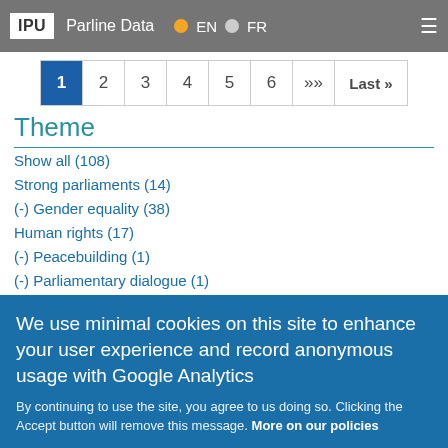IPU | Parline Data | EN | FR
1 2 3 4 5 6 » Last »
Theme
Show all (108)
Strong parliaments (14)
(-) Gender equality (38)
Human rights (17)
(-) Peacebuilding (1)
(-) Parliamentary dialogue (1)
Youth empowerment (8)
(-) Sustainable development (15)
We use minimal cookies on this site to enhance your user experience and record anonymous usage with Google Analytics
By continuing to use the site, you agree to us doing so. Clicking the Accept button will remove this message. More on our policies